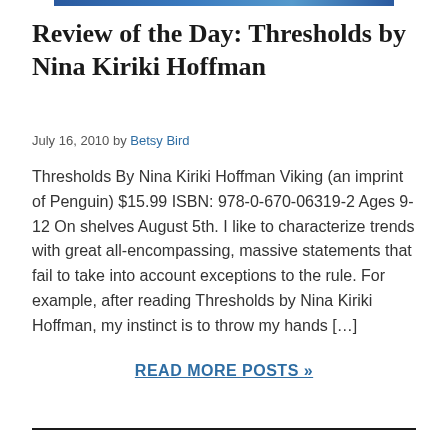[Figure (illustration): Narrow decorative image bar at top center of page]
Review of the Day: Thresholds by Nina Kiriki Hoffman
July 16, 2010 by Betsy Bird
Thresholds By Nina Kiriki Hoffman Viking (an imprint of Penguin) $15.99 ISBN: 978-0-670-06319-2 Ages 9-12 On shelves August 5th. I like to characterize trends with great all-encompassing, massive statements that fail to take into account exceptions to the rule. For example, after reading Thresholds by Nina Kiriki Hoffman, my instinct is to throw my hands […]
READ MORE POSTS »